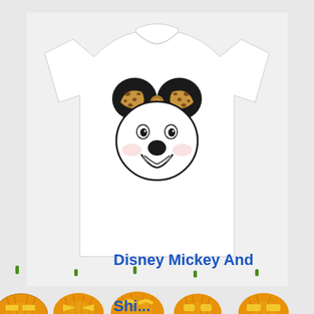[Figure (photo): White t-shirt with Minnie Mouse face graphic wearing a leopard print bow, on a light gray background]
Disney Mickey And
[Figure (illustration): Row of five Halloween jack-o-lantern pumpkins with glowing carved faces, each with different expressions and designs]
Shi...